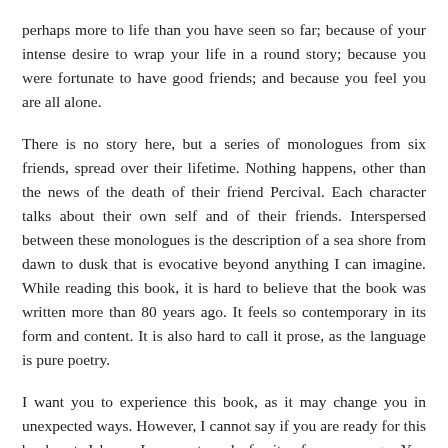perhaps more to life than you have seen so far; because of your intense desire to wrap your life in a round story; because you were fortunate to have good friends; and because you feel you are all alone.
There is no story here, but a series of monologues from six friends, spread over their lifetime. Nothing happens, other than the news of the death of their friend Percival. Each character talks about their own self and of their friends. Interspersed between these monologues is the description of a sea shore from dawn to dusk that is evocative beyond anything I can imagine. While reading this book, it is hard to believe that the book was written more than 80 years ago. It feels so contemporary in its form and content. It is also hard to call it prose, as the language is pure poetry.
I want you to experience this book, as it may change you in unexpected ways. However, I cannot say if you are ready for this book yet. I know I was not ready for it a few years ago. You have to be in a state where you can clearly distinguish between solitude and loneliness, and enjoy silence. You need a moonless night to see on